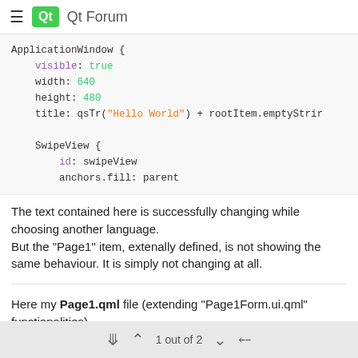Qt Forum
[Figure (screenshot): Code block showing QML ApplicationWindow with visible, width, height, title, SwipeView id and anchors.fill properties]
The text contained here is successfully changing while choosing another language.
But the "Page1" item, extenally defined, is not showing the same behaviour. It is simply not changing at all.
Here my Page1.qml file (extending "Page1Form.ui.qml" functionalities)
[Figure (screenshot): Code snippet: import QtQuick 2.7]
1 out of 2